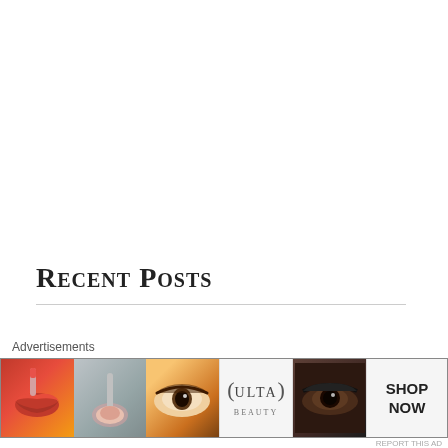Recent Posts
“Nothin’ But A Good Time: The Uncensored History of the ’80’s Hard Rock Explosion” by Tom Beaujour & Richard Bienstock – Book Review
[Figure (other): Advertisement banner showing beauty products: lipstick/lips, makeup brush, eye with mascara, Ulta Beauty logo, dark smoky eye makeup, and a 'SHOP NOW' call to action button.]